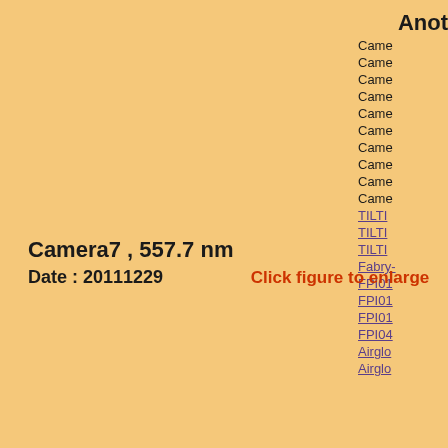Anot
Camera
Camera
Camera
Camera
Camera
Camera
Camera
Camera
Camera
Camera
TILTI
TILTI
TILTI
Fabry-
FPI01
FPI01
FPI01
FPI04
Airglo
Airglo
Camera7 , 557.7 nm
Date : 20111229
Click figure to enlarge